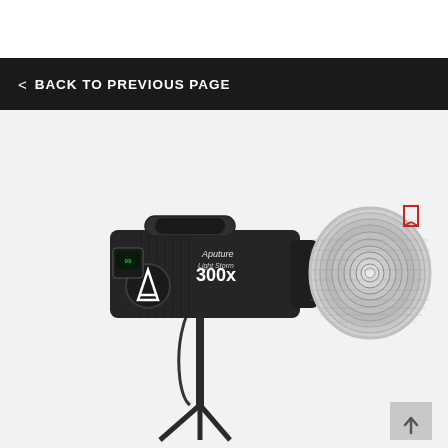< BACK TO PREVIOUS PAGE
[Figure (photo): Aputure LS 300x LED light mounted on a stand with a large silver reflector dish attached, photographed on a white/light grey background. The unit body is black with the Aputure logo and '300x' branding visible on the side.]